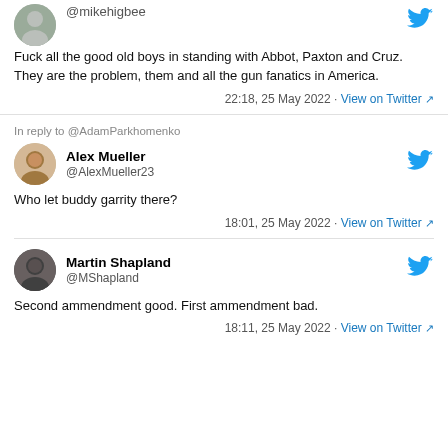[Figure (screenshot): Tweet from @mikehigbee (partial, top cut off) with profile avatar]
Fuck all the good old boys in standing with Abbot, Paxton and Cruz. They are the problem, them and all the gun fanatics in America.
22:18, 25 May 2022 · View on Twitter
In reply to @AdamParkhomenko
Alex Mueller @AlexMueller23
Who let buddy garrity there?
18:01, 25 May 2022 · View on Twitter
Martin Shapland @MShapland
Second ammendment good. First ammendment bad.
18:11, 25 May 2022 · View on Twitter